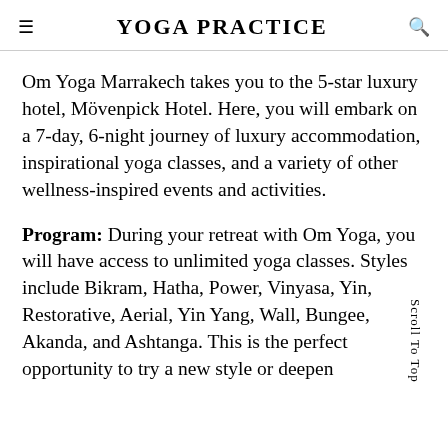YOGA PRACTICE
Om Yoga Marrakech takes you to the 5-star luxury hotel, Mövenpick Hotel. Here, you will embark on a 7-day, 6-night journey of luxury accommodation, inspirational yoga classes, and a variety of other wellness-inspired events and activities.
Program: During your retreat with Om Yoga, you will have access to unlimited yoga classes. Styles include Bikram, Hatha, Power, Vinyasa, Yin, Restorative, Aerial, Yin Yang, Wall, Bungee, Akanda, and Ashtanga. This is the perfect opportunity to try a new style or deepen